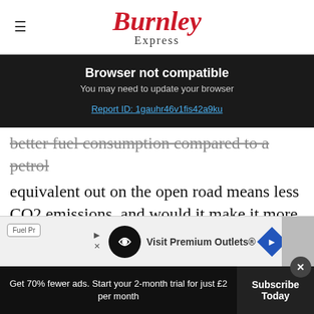Burnley Express
Browser not compatible
You may need to update your browser
Report ID: 1gauhr46v1fis42a9ku
better fuel consumption compared to a petrol equivalent out on the open road means less CO2 emissions, and would it make it more attractive were it not for the current higher cost of refuelling."
[Figure (other): Advertisement banner: Visit Premium Outlets® with logo icons]
Get 70% fewer ads. Start your 2-month trial for just £2 per month
Subscribe Today